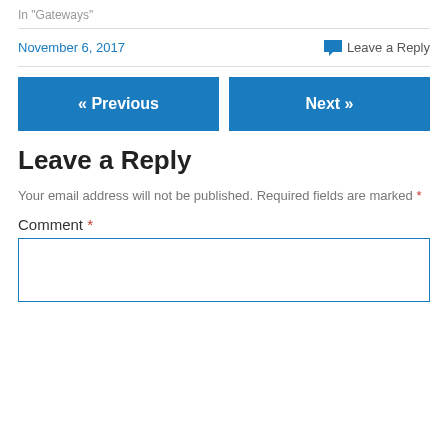In "Gateways"
November 6, 2017   Leave a Reply
« Previous   Next »
Leave a Reply
Your email address will not be published. Required fields are marked *
Comment *